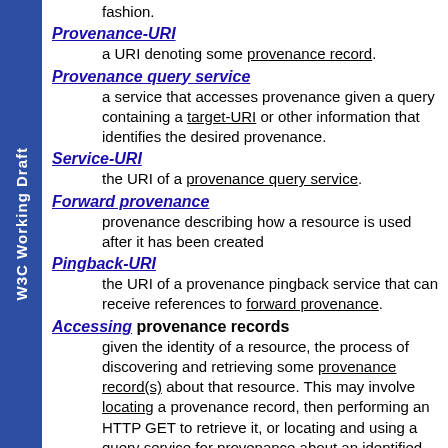…refers to provenance represented in some fashion.
Provenance-URI
a URI denoting some provenance record.
Provenance query service
a service that accesses provenance given a query containing a target-URI or other information that identifies the desired provenance.
Service-URI
the URI of a provenance query service.
Forward provenance
provenance describing how a resource is used after it has been created
Pingback-URI
the URI of a provenance pingback service that can receive references to forward provenance.
Accessing provenance records
given the identity of a resource, the process of discovering and retrieving some provenance record(s) about that resource. This may involve locating a provenance record, then performing an HTTP GET to retrieve it, or locating and using a query service for provenance about an identified…